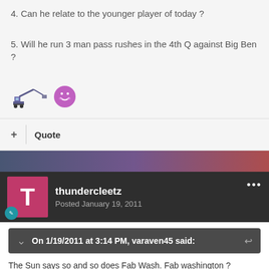4. Can he relate to the younger player of today ?
5. Will he run 3 man pass rushes in the 4th Q against Big Ben ?
[Figure (illustration): Two emoji icons: a pixel-art crane/excavator digging and a smiling face emoji]
+ Quote
[Figure (illustration): Forum banner strip with blurred city/abstract imagery in dark blue, purple, and red tones]
thundercleetz
Posted January 19, 2011
On 1/19/2011 at 3:14 PM, varaven45 said:
The Sun says so and so does Fab Wash. Fab washington ?